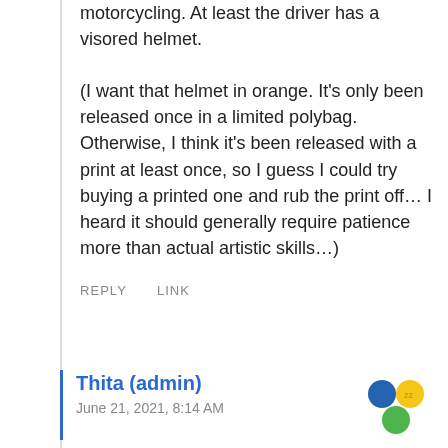motorcycling. At least the driver has a visored helmet.

(I want that helmet in orange. It's only been released once in a limited polybag. Otherwise, I think it's been released with a print at least once, so I guess I could try buying a printed one and rub the print off… I heard it should generally require patience more than actual artistic skills…)
REPLY    LINK
Thita (admin)
June 21, 2021, 8:14 AM